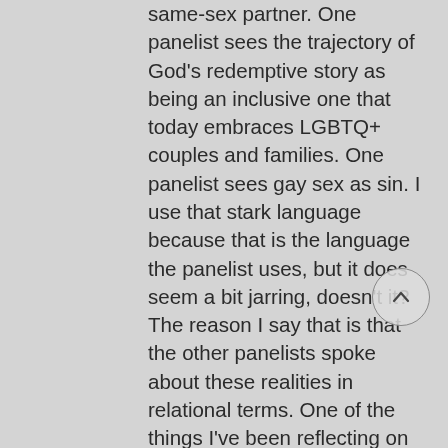same-sex partner.  One panelist sees the trajectory of God's redemptive story as being an inclusive one that today embraces LGBTQ+ couples and families. One panelist sees gay sex as sin.  I use that stark language because that is the language the panelist uses, but it does seem a bit jarring, doesn't it? The reason I say that is that the other panelists spoke about these realities in relational terms. One of the things I've been reflecting on lately is that when you rip sex out of the context of covenantal relationship, I think you are then automatically talking about something outside of God's best intention for human beings. From my vantage point, sex outside of covenant is a completely different conversation